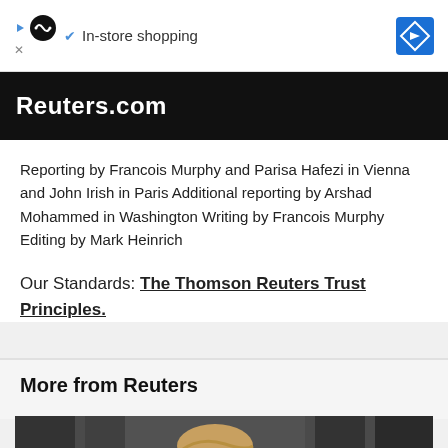[Figure (other): Advertisement banner with infinity loop icon and 'In-store shopping' text with a blue diamond navigation icon on the right]
Reuters.com
Reporting by Francois Murphy and Parisa Hafezi in Vienna and John Irish in Paris Additional reporting by Arshad Mohammed in Washington Writing by Francois Murphy Editing by Mark Heinrich
Our Standards: The Thomson Reuters Trust Principles.
More from Reuters
[Figure (photo): Photo of a person, appears to be Donald Trump, seen from above/behind with blond hair, dark background]